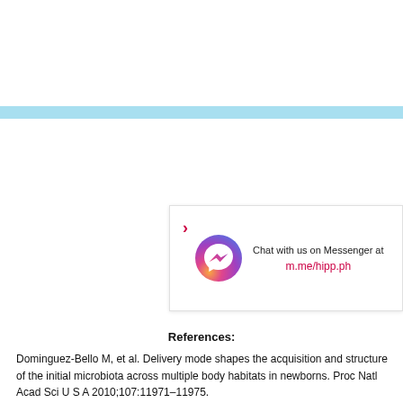[Figure (other): Light blue horizontal banner/divider bar]
[Figure (other): Messenger chat widget card with Facebook Messenger icon, chevron arrow, text 'Chat with us on Messenger at' and link 'm.me/hipp.ph']
References:
Dominguez-Bello M, et al. Delivery mode shapes the acquisition and structure of the initial microbiota across multiple body habitats in newborns. Proc Natl Acad Sci U S A 2010;107:11971–11975.